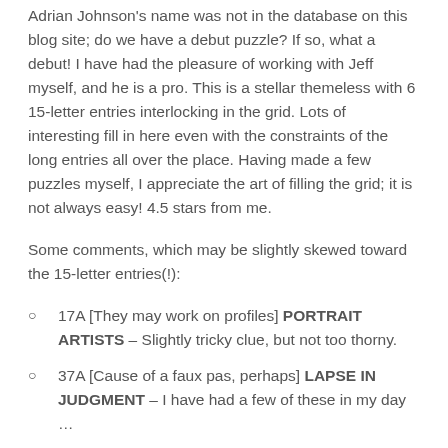Adrian Johnson's name was not in the database on this blog site; do we have a debut puzzle? If so, what a debut! I have had the pleasure of working with Jeff myself, and he is a pro. This is a stellar themeless with 6 15-letter entries interlocking in the grid. Lots of interesting fill in here even with the constraints of the long entries all over the place. Having made a few puzzles myself, I appreciate the art of filling the grid; it is not always easy! 4.5 stars from me.
Some comments, which may be slightly skewed toward the 15-letter entries(!):
17A [They may work on profiles] PORTRAIT ARTISTS – Slightly tricky clue, but not too thorny.
37A [Cause of a faux pas, perhaps] LAPSE IN JUDGMENT – I have had a few of these in my day …